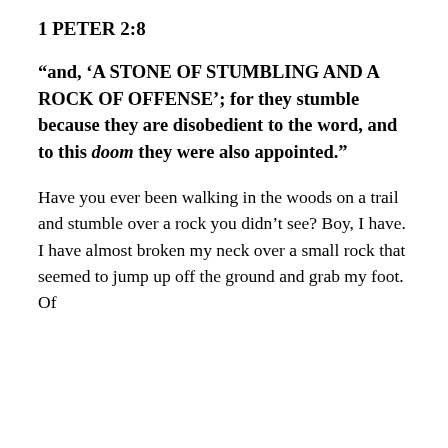1 PETER 2:8
“and, ‘A STONE OF STUMBLING AND A ROCK OF OFFENSE’; for they stumble because they are disobedient to the word, and to this doom they were also appointed.”
Have you ever been walking in the woods on a trail and stumble over a rock you didn’t see? Boy, I have. I have almost broken my neck over a small rock that seemed to jump up off the ground and grab my foot. Of